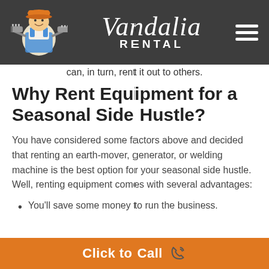Vandalia Rental
can, in turn, rent it out to others.
Why Rent Equipment for a Seasonal Side Hustle?
You have considered some factors above and decided that renting an earth-mover, generator, or welding machine is the best option for your seasonal side hustle. Well, renting equipment comes with several advantages:
You'll save some money to run the business.
Click to Call